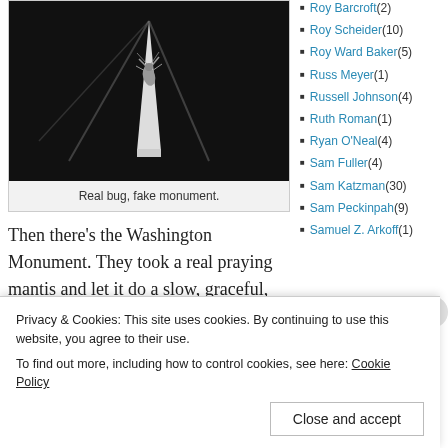[Figure (photo): Black and white photo of a praying mantis on a miniature Washington Monument model]
Real bug, fake monument.
Then there's the Washington Monument. They took a real praying mantis and let it do a slow, graceful, creepy crawl up a (very) miniature monument. It might be the best single shot in the movie.
[Figure (photo): Bottom strip showing partial movie poster with yellow background and red text]
Roy Barcroft (2)
Roy Scheider (10)
Roy Ward Baker (5)
Russ Meyer (1)
Russell Johnson (4)
Ruth Roman (1)
Ryan O'Neal (4)
Sam Fuller (4)
Sam Katzman (30)
Sam Peckinpah (9)
Samuel Z. Arkoff (1)
Privacy & Cookies: This site uses cookies. By continuing to use this website, you agree to their use. To find out more, including how to control cookies, see here: Cookie Policy
Close and accept